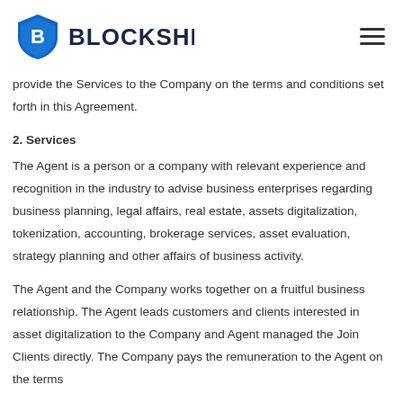[Figure (logo): Blockshield logo with blue shield icon and bold dark blue text 'BLOCKSHIELD']
provide the Services to the Company on the terms and conditions set forth in this Agreement.
2. Services
The Agent is a person or a company with relevant experience and recognition in the industry to advise business enterprises regarding business planning, legal affairs, real estate, assets digitalization, tokenization, accounting, brokerage services, asset evaluation, strategy planning and other affairs of business activity.
The Agent and the Company works together on a fruitful business relationship. The Agent leads customers and clients interested in asset digitalization to the Company and Agent managed the Join Clients directly. The Company pays the remuneration to the Agent on the terms